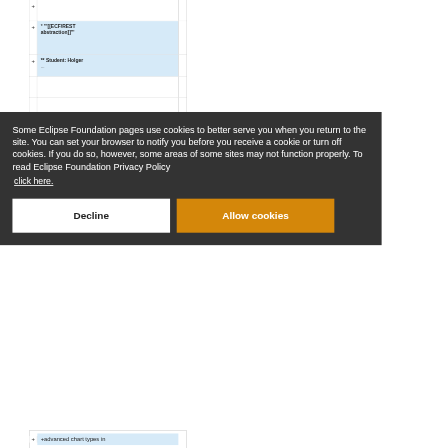| + |  |
| + | * '''[[ECF/REST abstraction]]''' |
| + | ** Student: Holger ... |
Some Eclipse Foundation pages use cookies to better serve you when you return to the site. You can set your browser to notify you before you receive a cookie or turn off cookies. If you do so, however, some areas of some sites may not function properly. To read Eclipse Foundation Privacy Policy
click here.
Decline
Allow cookies
+advanced chart types in